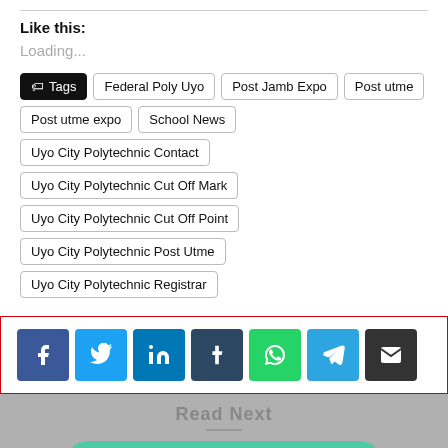Like this:
Loading...
Tags | Federal Poly Uyo | Post Jamb Expo | Post utme | Post utme expo | School News | Uyo City Polytechnic Contact | Uyo City Polytechnic Cut Off Mark | Uyo City Polytechnic Cut Off Point | Uyo City Polytechnic Post Utme | Uyo City Polytechnic Registrar
[Figure (infographic): Social share buttons: Facebook, Twitter, LinkedIn, Tumblr, WhatsApp, Telegram, Email]
Read Next
Chat With Us On WhatsApp Here
UNIBEN JUPEB Entrance Exam Date 2022/2023 [UPDATED]